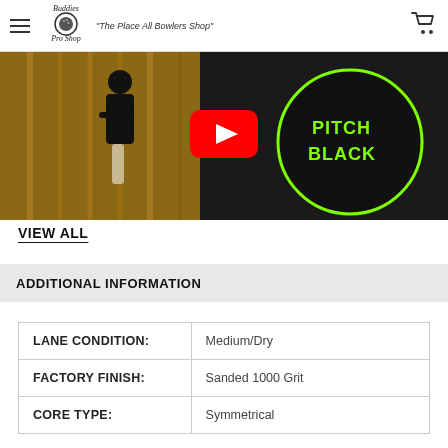Buddies Pro Shop — "The Place All Bowlers Shop"
[Figure (screenshot): YouTube video thumbnail showing a bowler on a lane and a Pitch Black bowling ball, with a red YouTube play button overlay]
VIEW ALL
ADDITIONAL INFORMATION
| LANE CONDITION: | Medium/Dry |
| FACTORY FINISH: | Sanded 1000 Grit |
| CORE TYPE: | Symmetrical |